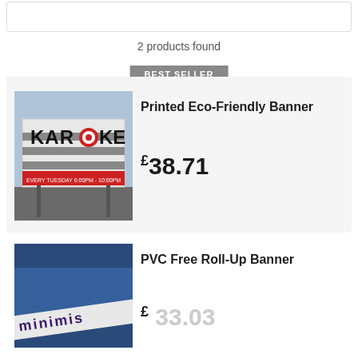2 products found
BEST SELLER
[Figure (photo): Karaoke printed eco-friendly banner displayed outdoors on stands]
Printed Eco-Friendly Banner
£38.71
[Figure (photo): PVC Free Roll-Up Banner shown close up with text]
PVC Free Roll-Up Banner